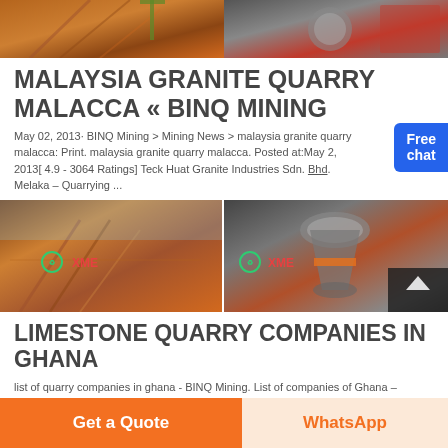[Figure (photo): Top banner image showing mining/quarry equipment in orange and red industrial colors]
MALAYSIA GRANITE QUARRY MALACCA « BINQ MINING
May 02, 2013· BINQ Mining > Mining News > malaysia granite quarry malacca: Print. malaysia granite quarry malacca. Posted at:May 2, 2013[ 4.9 - 3064 Ratings] Teck Huat Granite Industries Sdn. Bhd. Melaka – Quarrying ...
[Figure (photo): Two side-by-side images of mining/quarry equipment with XME logo watermarks]
LIMESTONE QUARRY COMPANIES IN GHANA
list of quarry companies in ghana - BINQ Mining. List of companies of Ghana – Wikipedia, the free encyclopedia The following is a list of companies based in Ghana.For inclusion here, there should be an